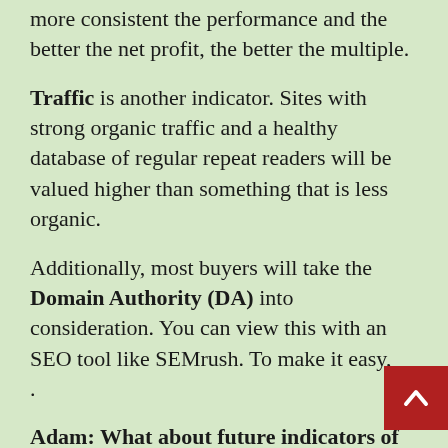more consistent the performance and the better the net profit, the better the multiple.
Traffic is another indicator. Sites with strong organic traffic and a healthy database of regular repeat readers will be valued higher than something that is less organic.
Additionally, most buyers will take the Domain Authority (DA) into consideration. You can view this with an SEO tool like SEMrush. To make it easy, .
Adam: What about future indicators of performance? Like if a blog is growing or its growth is flat?
Blake: Yep, growth trends are really important. Sites that are stable and growing a coveted most. It sounds counterintuitive but